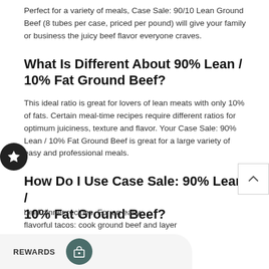Perfect for a variety of meals, Case Sale: 90/10 Lean Ground Beef (8 tubes per case, priced per pound) will give your family or business the juicy beef flavor everyone craves.
What Is Different About 90% Lean / 10% Fat Ground Beef?
This ideal ratio is great for lovers of lean meats with only 10% of fats. Certain meal-time recipes require different ratios for optimum juiciness, texture and flavor. Your Case Sale: 90% Lean / 10% Fat Ground Beef is great for a large variety of easy and professional meals.
How Do I Use Case Sale: 90% Lean / 10% Fat Ground Beef?
beef dinner recipes. For an easy flavorful tacos: cook ground beef and layer with your favorite ingredients. You can use ground beef filling...